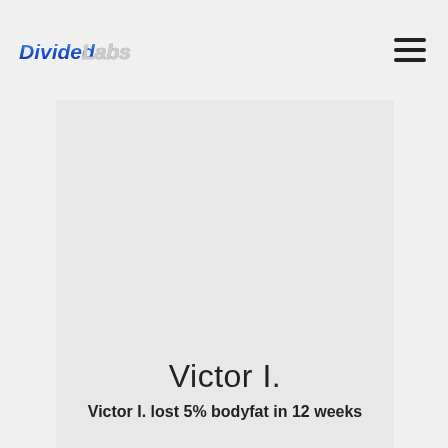Divided Labs
[Figure (photo): Large light gray placeholder image card area for Victor I. testimonial photo]
Victor I.
Victor I. lost 5% bodyfat in 12 weeks